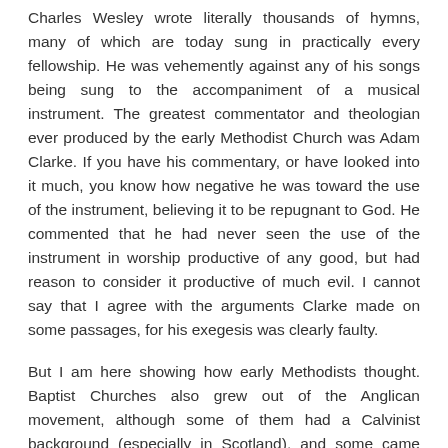Charles Wesley wrote literally thousands of hymns, many of which are today sung in practically every fellowship. He was vehemently against any of his songs being sung to the accompaniment of a musical instrument. The greatest commentator and theologian ever produced by the early Methodist Church was Adam Clarke. If you have his commentary, or have looked into it much, you know how negative he was toward the use of the instrument, believing it to be repugnant to God. He commented that he had never seen the use of the instrument in worship productive of any good, but had reason to consider it productive of much evil. I cannot say that I agree with the arguments Clarke made on some passages, for his exegesis was clearly faulty.
But I am here showing how early Methodists thought. Baptist Churches also grew out of the Anglican movement, although some of them had a Calvinist background (especially in Scotland), and some came from Anabaptist roots. Whatever their origin or their differences in doctrine, all excluded the instrument until the 19th century. Today, the Baptist denominations that are most deeply-dyed Calvinistic generally do not use the instrument in worship. This includes the Primitive Baptists (pejoratively called "hardshells") and others, including this author.